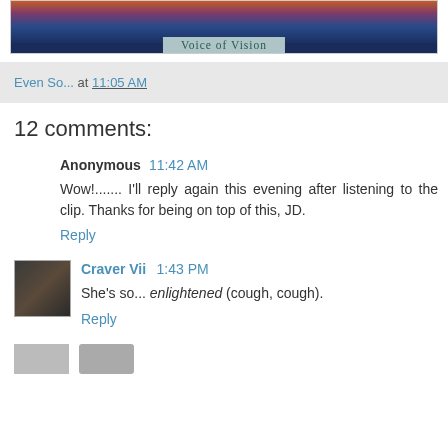[Figure (photo): Banner image with sunset/ocean background and text 'Voice of Vision']
Even So... at 11:05 AM
12 comments:
Anonymous  11:42 AM
Wow!....... I'll reply again this evening after listening to the clip. Thanks for being on top of this, JD.
Reply
[Figure (photo): Small avatar photo of Craver Vii - dark image of person]
Craver Vii  1:43 PM
She's so... enlightened (cough, cough).
Reply